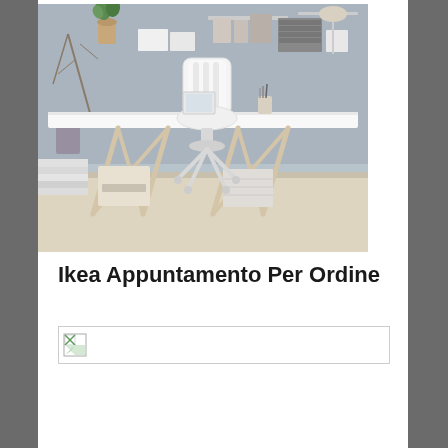[Figure (photo): A home office desk setup with a white tabletop on trestle legs, a white wooden swivel chair, a potted plant, storage boxes, paper organizers, and a lamp against a grey-blue wall.]
Ikea Appuntamento Per Ordine
[Figure (other): Broken/missing image placeholder icon with a border box]